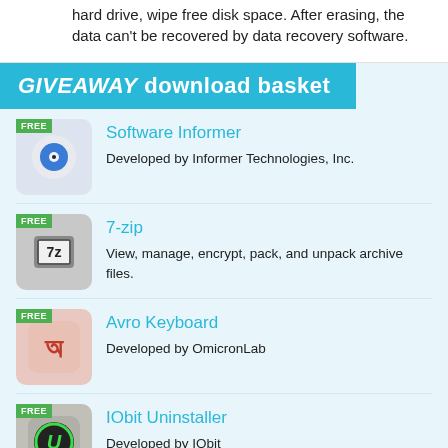hard drive, wipe free disk space. After erasing, the data can't be recovered by data recovery software.
GIVEAWAY download basket
Software Informer
Developed by Informer Technologies, Inc.
7-zip
View, manage, encrypt, pack, and unpack archive files.
Avro Keyboard
Developed by OmicronLab
IObit Uninstaller
Developed by IObit